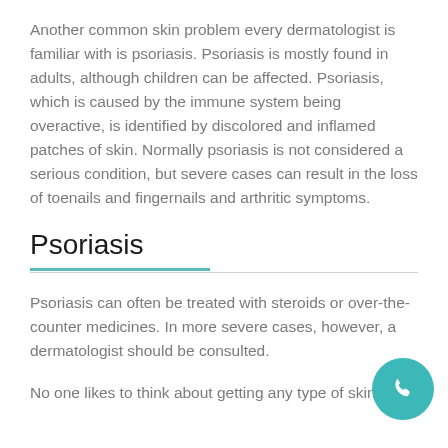Another common skin problem every dermatologist is familiar with is psoriasis. Psoriasis is mostly found in adults, although children can be affected. Psoriasis, which is caused by the immune system being overactive, is identified by discolored and inflamed patches of skin. Normally psoriasis is not considered a serious condition, but severe cases can result in the loss of toenails and fingernails and arthritic symptoms.
Psoriasis
Psoriasis can often be treated with steroids or over-the-counter medicines. In more severe cases, however, a dermatologist should be consulted.
No one likes to think about getting any type of skin